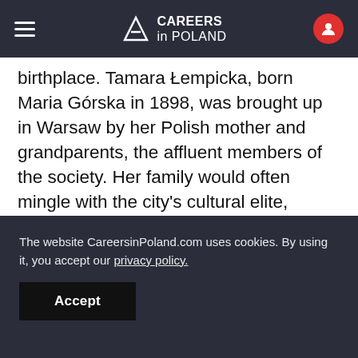CAREERS in POLAND
birthplace. Tamara Łempicka, born Maria Górska in 1898, was brought up in Warsaw by her Polish mother and grandparents, the affluent members of the society. Her family would often mingle with the city's cultural elite, including the likes of Artur Rubinstein or Ignacy Jan Paderewski. As a young girl, Łempicka quickly developed a strong interest in art and set her mind on becoming a painter. She spent most of her adult life abroad, first in
The website CareersinPoland.com uses cookies. By using it, you accept our privacy policy.
Accept